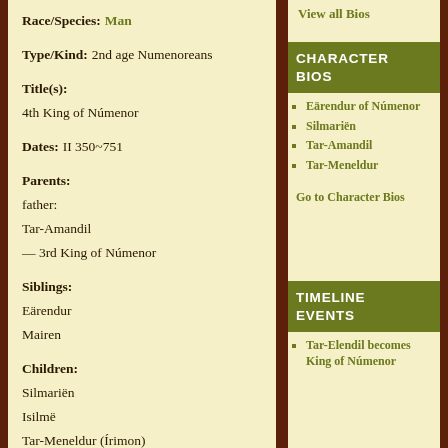Race/Species: Man
Type/Kind: 2nd age Numenoreans
Title(s): 4th King of Númenor
Dates: II 350~751
Parents: father: Tar-Amandil — 3rd King of Númenor
Siblings: Eärendur Mairen
Children: Silmariën Isilmë Tar-Meneldur (Írimon) — 5th King of Númenor
View all Bios
CHARACTER BIOS
Eärendur of Númenor
Silmariën
Tar-Amandil
Tar-Meneldur
Go to Character Bios
TIMELINE EVENTS
Tar-Elendil becomes King of Númenor